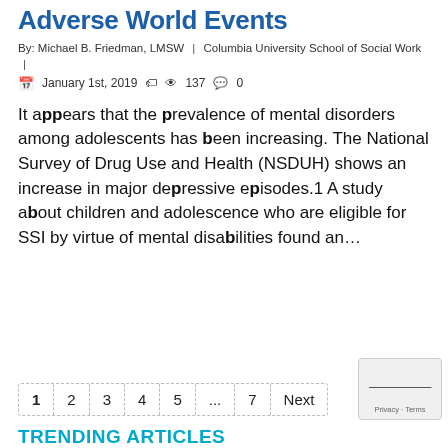Adverse World Events
By: Michael B. Friedman, LMSW | Columbia University School of Social Work |
January 1st, 2019  137  0
It appears that the prevalence of mental disorders among adolescents has been increasing. The National Survey of Drug Use and Health (NSDUH) shows an increase in major depressive episodes.1 A study about children and adolescence who are eligible for SSI by virtue of mental disabilities found an…
1  2  3  4  5  ...  7  Next
TRENDING ARTICLES
1.  BHN Summer 2022 Issue